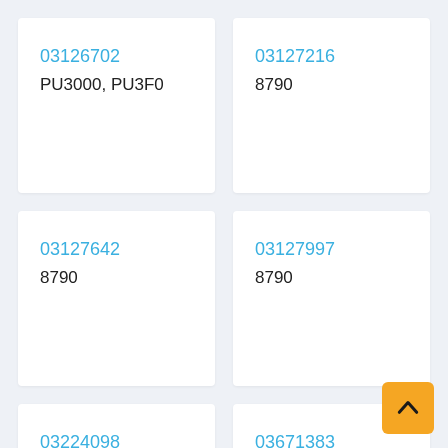03126702
PU3000, PU3F0
03127216
8790
03127642
8790
03127997
8790
03224098
03671383